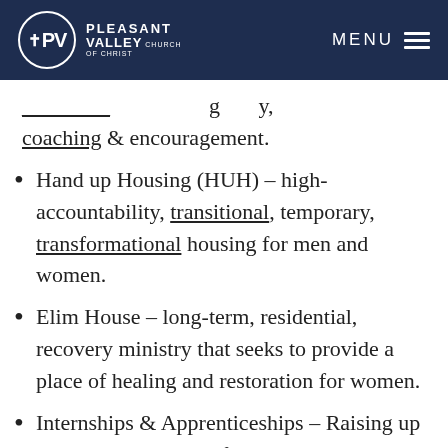Pleasant Valley Church of Christ — MENU
coaching & encouragement.
Hand up Housing (HUH) – high-accountability, transitional, temporary, transformational housing for men and women.
Elim House – long-term, residential, recovery ministry that seeks to provide a place of healing and restoration for women.
Internships & Apprenticeships – Raising up the next generation of Kingdom workers is woven into the